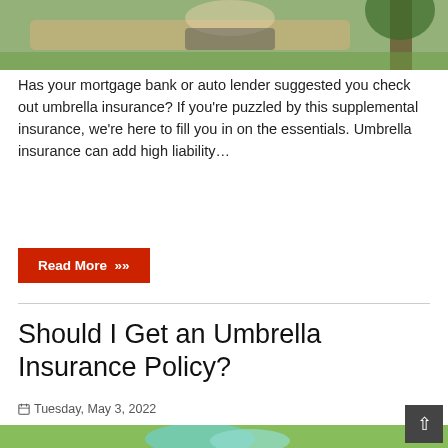[Figure (photo): Person relaxing in a hammock outdoors, cropped to show lower body and hammock fabric]
Has your mortgage bank or auto lender suggested you check out umbrella insurance? If you're puzzled by this supplemental insurance, we're here to fill you in on the essentials. Umbrella insurance can add high liability…
Read More »
Should I Get an Umbrella Insurance Policy?
Tuesday, May 3, 2022
[Figure (photo): Blue umbrella in an outdoor green leafy background]